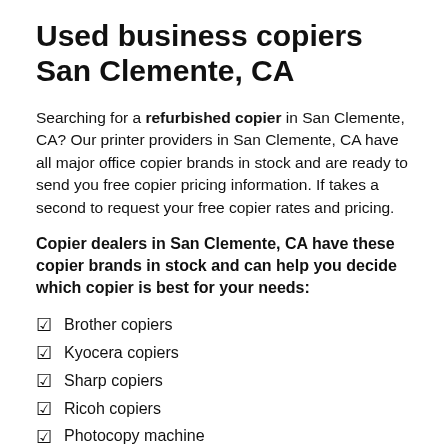Used business copiers San Clemente, CA
Searching for a refurbished copier in San Clemente, CA? Our printer providers in San Clemente, CA have all major office copier brands in stock and are ready to send you free copier pricing information. If takes a second to request your free copier rates and pricing.
Copier dealers in San Clemente, CA have these copier brands in stock and can help you decide which copier is best for your needs:
Brother copiers
Kyocera copiers
Sharp copiers
Ricoh copiers
Photocopy machine
Canon copier machine